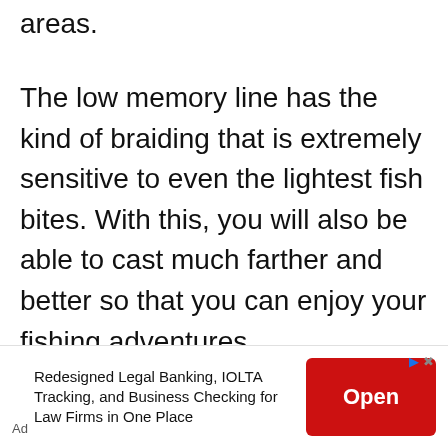areas.
The low memory line has the kind of braiding that is extremely sensitive to even the lightest fish bites. With this, you will also be able to cast much farther and better so that you can enjoy your fishing adventures.
[Figure (other): Advertisement banner for legal banking services. Shows text 'Redesigned Legal Banking, IOLTA Tracking, and Business Checking for Law Firms in One Place' with a red 'Open' button and Ad label.]